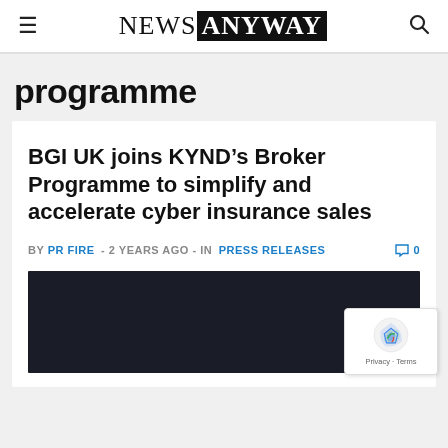NEWS ANYWAY
programme
BGI UK joins KYND’s Broker Programme to simplify and accelerate cyber insurance sales
BY PR FIRE - 2 YEARS AGO - IN PRESS RELEASES  0
[Figure (photo): Dark background image, partially visible, associated with the article about BGI UK joining KYND's Broker Programme]